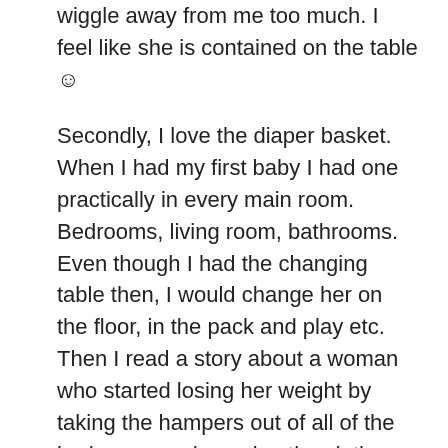wiggle away from me too much. I feel like she is contained on the table ☺
Secondly, I love the diaper basket. When I had my first baby I had one practically in every main room. Bedrooms, living room, bathrooms. Even though I had the changing table then, I would change her on the floor, in the pack and play etc. Then I read a story about a woman who started losing her weight by taking the hampers out of all of the bedrooms and carrying the clothes down to her basement for the wash. I figured if I had to change my daughter on the changing table in her bedroom then I would make myself do the stairs…hence more exercise. And it has helped.